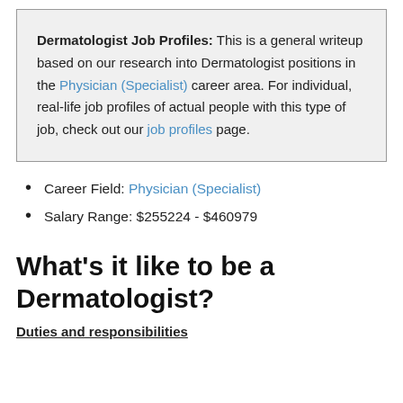Dermatologist Job Profiles: This is a general writeup based on our research into Dermatologist positions in the Physician (Specialist) career area. For individual, real-life job profiles of actual people with this type of job, check out our job profiles page.
Career Field: Physician (Specialist)
Salary Range: $255224 - $460979
What's it like to be a Dermatologist?
Duties and responsibilities